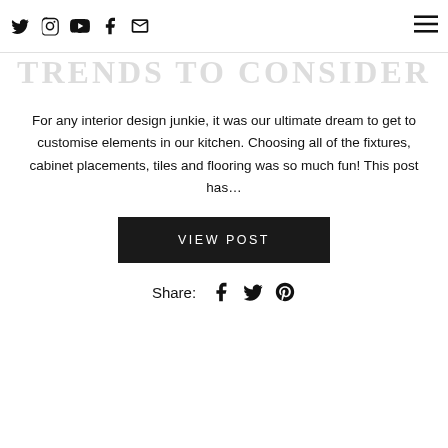OUR KITCHEN RENOVATION TRENDS TO CONSIDER
For any interior design junkie, it was our ultimate dream to get to customise elements in our kitchen. Choosing all of the fixtures, cabinet placements, tiles and flooring was so much fun! This post has…
VIEW POST
Share: